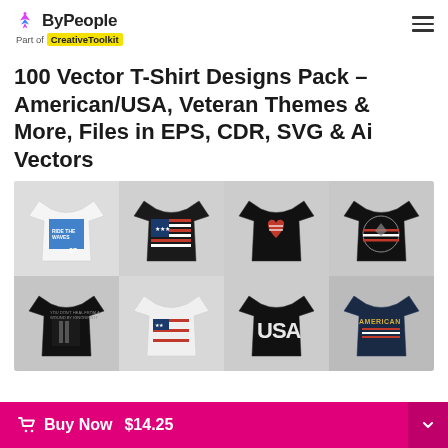ByPeople – Part of CreativeToolkit
100 Vector T-Shirt Designs Pack – American/USA, Veteran Themes & More, Files in EPS, CDR, SVG & Ai Vectors
[Figure (photo): Grid of 8 t-shirts with American/USA and Veteran themed designs on black, white, and navy t-shirts]
Buy Now $14.25